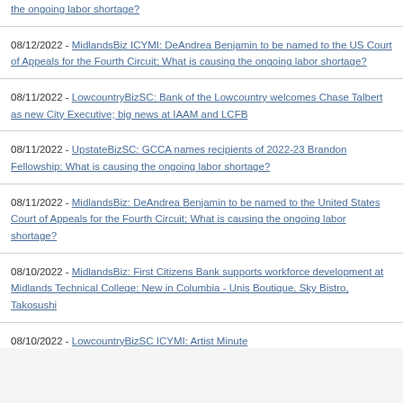the ongoing labor shortage?
08/12/2022 - MidlandsBiz ICYMI: DeAndrea Benjamin to be named to the US Court of Appeals for the Fourth Circuit; What is causing the ongoing labor shortage?
08/11/2022 - LowcountryBizSC: Bank of the Lowcountry welcomes Chase Talbert as new City Executive; big news at IAAM and LCFB
08/11/2022 - UpstateBizSC: GCCA names recipients of 2022-23 Brandon Fellowship; What is causing the ongoing labor shortage?
08/11/2022 - MidlandsBiz: DeAndrea Benjamin to be named to the United States Court of Appeals for the Fourth Circuit; What is causing the ongoing labor shortage?
08/10/2022 - MidlandsBiz: First Citizens Bank supports workforce development at Midlands Technical College; New in Columbia - Unis Boutique, Sky Bistro, Takosushi
08/10/2022 - LowcountryBizSC ICYMI: Artist Minute...